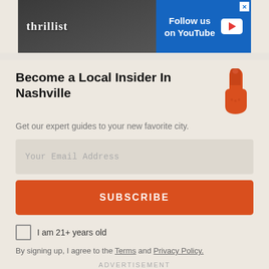[Figure (screenshot): Thrillist advertisement banner with logo on left and 'Follow us on YouTube' call-to-action on right with YouTube play button, close X in top right corner]
Become a Local Insider In Nashville
Get our expert guides to your new favorite city.
[Figure (illustration): Orange foam finger pointing upward icon]
Your Email Address (input placeholder)
SUBSCRIBE (button)
I am 21+ years old (checkbox)
By signing up, I agree to the Terms and Privacy Policy.
ADVERTISEMENT